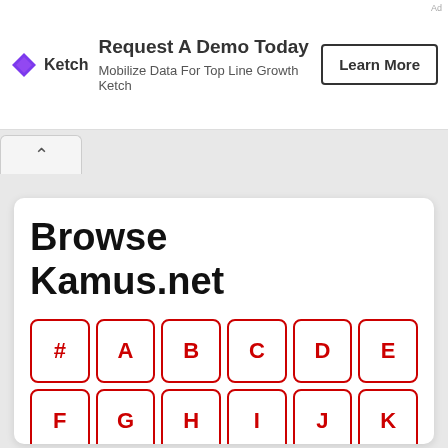[Figure (logo): Ketch logo with purple diamond shape and 'Ketch' text]
Request A Demo Today
Mobilize Data For Top Line Growth
Ketch
Learn More
Browse Kamus.net
[Figure (infographic): Alphabet browse grid with letters #, A, B, C, D, E, F, G, H, I, J, K and partial bottom row]